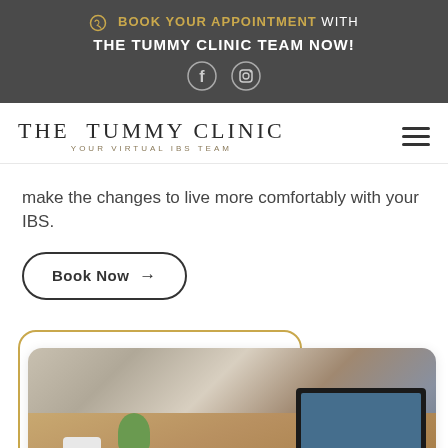BOOK YOUR APPOINTMENT WITH THE TUMMY CLINIC TEAM NOW!
THE TUMMY CLINIC
YOUR VIRTUAL IBS TEAM
make the changes to live more comfortably with your IBS.
Book Now →
[Figure (photo): Person at a desk with a laptop displaying a calendar, a coffee cup, a plant, and a lamp in the background]